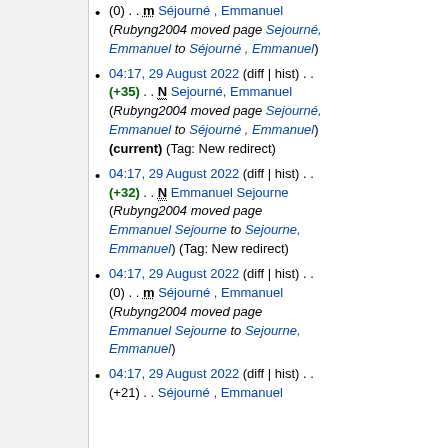(0) . . m Séjourné , Emmanuel (Rubyng2004 moved page Sejourné, Emmanuel to Séjourné , Emmanuel)
04:17, 29 August 2022 (diff | hist) . . (+35) . . N Sejourné, Emmanuel (Rubyng2004 moved page Sejourné, Emmanuel to Séjourné , Emmanuel) (current) (Tag: New redirect)
04:17, 29 August 2022 (diff | hist) . . (+32) . . N Emmanuel Sejourne (Rubyng2004 moved page Emmanuel Sejourne to Sejourne, Emmanuel) (Tag: New redirect)
04:17, 29 August 2022 (diff | hist) . . (0) . . m Séjourné , Emmanuel (Rubyng2004 moved page Emmanuel Sejourne to Sejourne, Emmanuel)
04:17, 29 August 2022 (diff | hist) . . (+21) . . Séjourné , Emmanuel